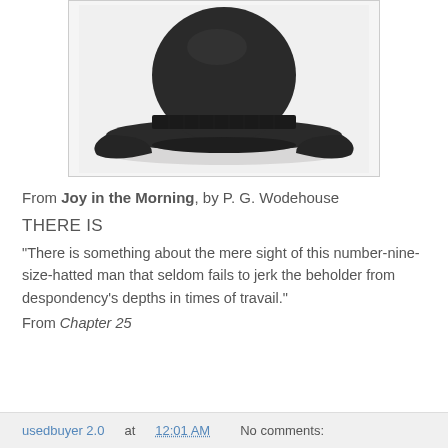[Figure (photo): A black bowler hat centered on a white/light gray background, photographed from a slightly elevated front angle. The hat has a rounded crown and curved brim with a grosgrain ribbon band.]
From Joy in the Morning, by P. G. Wodehouse
THERE IS
"There is something about the mere sight of this number-nine-size-hatted man that seldom fails to jerk the beholder from despondency's depths in times of travail."
From Chapter 25
usedbuyer 2.0 at 12:01 AM   No comments: